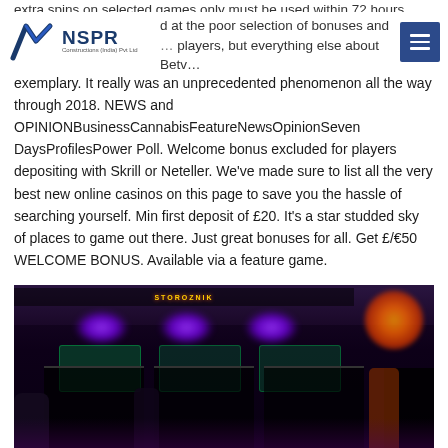NSPR Constructions (India) Pvt Ltd
extra spins on selected games only must be used within 72 hours…
…d at the poor selection of bonuses and … players, but everything else about Betv… exemplary. It really was an unprecedented phenomenon all the way through 2018. NEWS and OPINIONBusinessCannabisFeatureNewsOpinionSeven DaysProfilesPower Poll. Welcome bonus excluded for players depositing with Skrill or Neteller. We've made sure to list all the very best new online casinos on this page to save you the hassle of searching yourself. Min first deposit of £20. It's a star studded sky of places to game out there. Just great bonuses for all. Get £/€50 WELCOME BONUS. Available via a feature game.
[Figure (photo): Casino floor interior with slot machines, colorful neon lights, and people playing.]